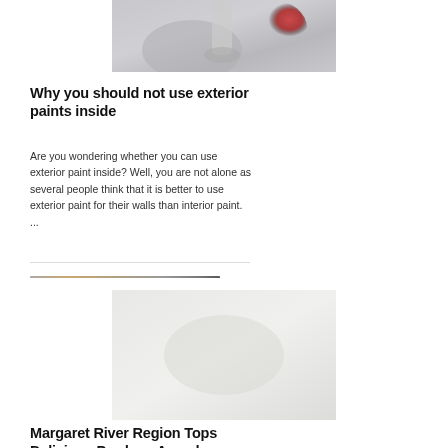[Figure (photo): Partial photo of paint cans or painting equipment, showing grey/white and red colors]
Why you should not use exterior paints inside
Are you wondering whether you can use exterior paint inside? Well, you are not alone as several people think that it is better to use exterior paint for their walls than interior paint. ...
[Figure (photo): Partially visible image, appears to be a food or nature photograph for the Margaret River Region article]
Margaret River Region Tops Delicious Produce Awards
The Margaret River Region in